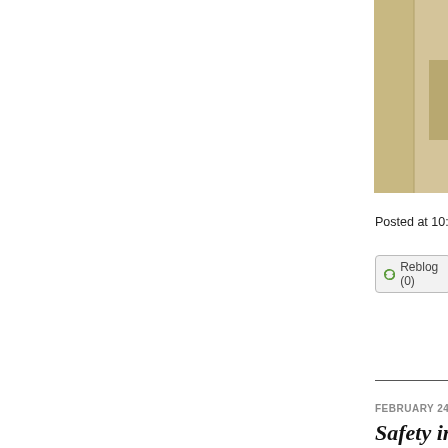[Figure (photo): Partial view of a fashion item or model, beige/tan colored, visible in the top-right corner of the page]
Posted at 10:54 AM
Reblog (0)
FEBRUARY 24, 2020
Safety in N... Creative D...
Milan Fashion W... industry, from e... season after th... paralysing the ...
Yet, the fashion... conference at P... joining Miuccia...